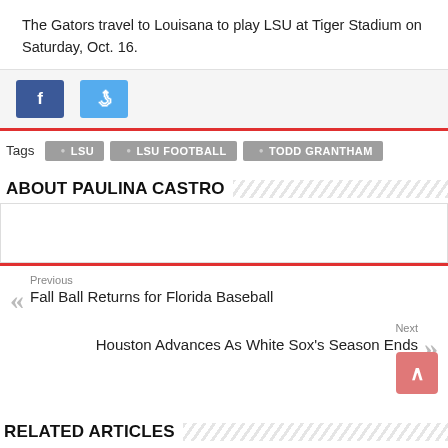The Gators travel to Louisana to play LSU at Tiger Stadium on Saturday, Oct. 16.
Tags  LSU  LSU FOOTBALL  TODD GRANTHAM
ABOUT PAULINA CASTRO
Previous
Fall Ball Returns for Florida Baseball
Next
Houston Advances As White Sox's Season Ends
RELATED ARTICLES